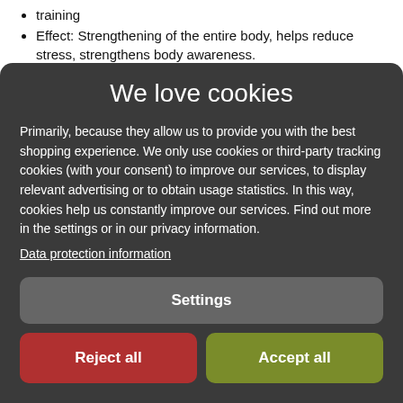training
Effect: Strengthening of the entire body, helps reduce stress, strengthens body awareness.
We love cookies
Primarily, because they allow us to provide you with the best shopping experience. We only use cookies or third-party tracking cookies (with your consent) to improve our services, to display relevant advertising or to obtain usage statistics. In this way, cookies help us constantly improve our services. Find out more in the settings or in our privacy information.
Data protection information
Settings
Reject all
Accept all